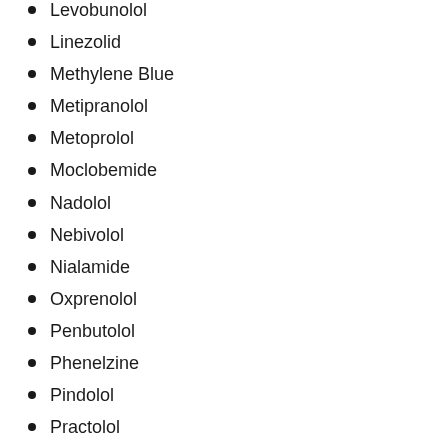Levobunolol
Linezolid
Methylene Blue
Metipranolol
Metoprolol
Moclobemide
Nadolol
Nebivolol
Nialamide
Oxprenolol
Penbutolol
Phenelzine
Pindolol
Practolol
Procarbazine
Propranolol
Psyllium